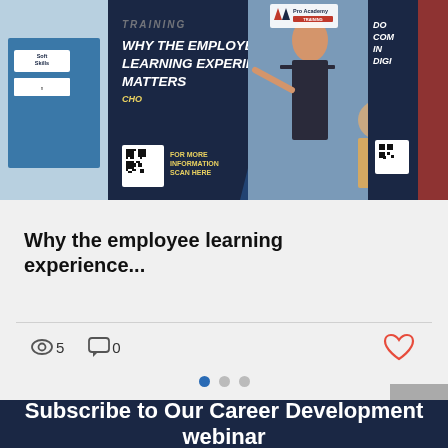[Figure (screenshot): Pro Academy training banner showing 'WHY THE EMPLOYEE LEARNING EXPERIENCE MATTERS' with QR code and people in a training session]
Why the employee learning experience...
5 views, 0 comments, heart/like button
Carousel dots navigation
Subscribe to Our Career Development webinar